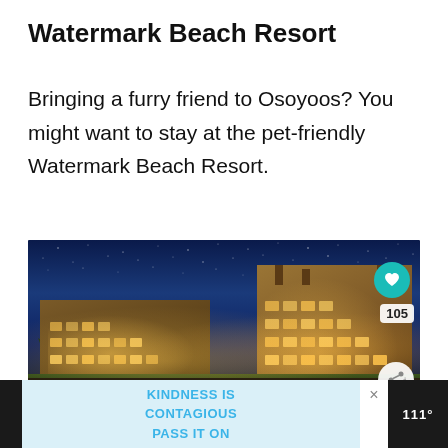Watermark Beach Resort
Bringing a furry friend to Osoyoos? You might want to stay at the pet-friendly Watermark Beach Resort.
[Figure (photo): Night photograph of Watermark Beach Resort buildings lit up with warm lights against a dark starry blue sky, reflected in water, with trees on the left side. Heart/like button (105 likes) and share button visible on the right side of the image.]
KINDNESS IS CONTAGIOUS PASS IT ON